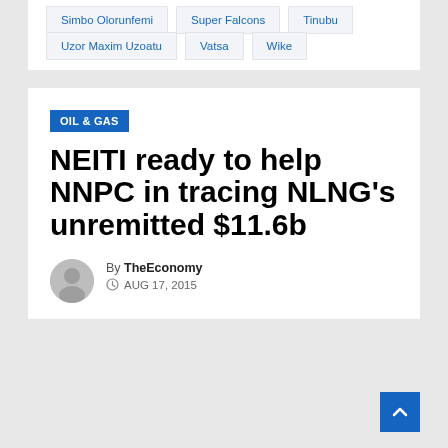Simbo Olorunfemi
Super Falcons
Tinubu
Uzor Maxim Uzoatu
Vatsa
Wike
OIL & GAS
NEITI ready to help NNPC in tracing NLNG's unremitted $11.6b
By TheEconomy
AUG 17, 2015